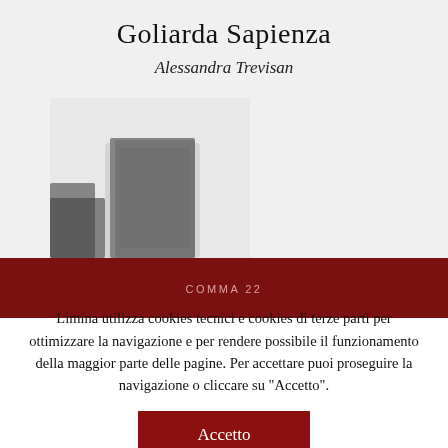Goliarda Sapienza
Alessandra Trevisan
[Figure (photo): Blurred black and white photograph showing abstract dark silhouettes resembling books or buildings on a light background]
COMMA 22
Limina utilizza cookies tecnici e cookies di terze parti per ottimizzare la navigazione e per rendere possibile il funzionamento della maggior parte delle pagine. Per accettare puoi proseguire la navigazione o cliccare su "Accetto".
Accetto